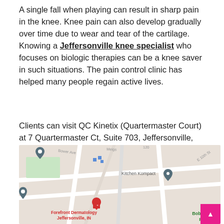A single fall when playing can result in sharp pain in the knee. Knee pain can also develop gradually over time due to wear and tear of the cartilage. Knowing a Jeffersonville knee specialist who focuses on biologic therapies can be a knee saver in such situations. The pain control clinic has helped many people regain active lives.
Clients can visit QC Kinetix (Quartermaster Court) at 7 Quartermaster Ct, Suite 703, Jeffersonville, IN, 47130, US. An alternative option is to reach out via phone at (502) 219-4636 or visit the company's website.
[Figure (map): Google Maps screenshot showing the area around QC Kinetix in Jeffersonville, IN. Map shows streets including Bower Ave, Meigs, E 10th St, and route 120. Pins indicate Forefront Dermatology Jeffersonville IN (red), Kitchen Kompact (teal), and two gray location pins. Bob Hedge Park label appears in green at bottom right.]